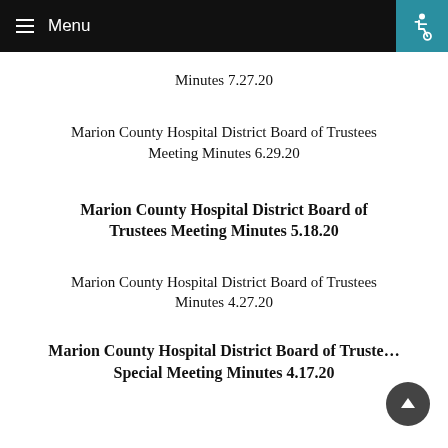Menu
Minutes 7.27.20
Marion County Hospital District Board of Trustees Meeting Minutes 6.29.20
Marion County Hospital District Board of Trustees Meeting Minutes 5.18.20
Marion County Hospital District Board of Trustees Minutes 4.27.20
Marion County Hospital District Board of Trustees Special Meeting Minutes 4.17.20